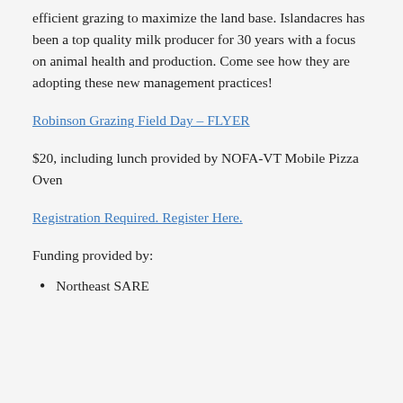efficient grazing to maximize the land base. Islandacres has been a top quality milk producer for 30 years with a focus on animal health and production. Come see how they are adopting these new management practices!
Robinson Grazing Field Day – FLYER
$20, including lunch provided by NOFA-VT Mobile Pizza Oven
Registration Required. Register Here.
Funding provided by:
Northeast SARE